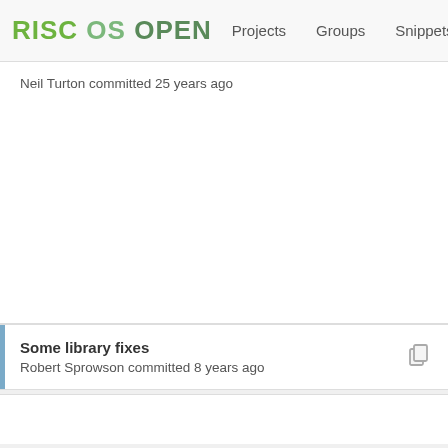RISC OS OPEN  Projects  Groups  Snippets  Help
Neil Turton committed 25 years ago
Some library fixes
Robert Sprowson committed 8 years ago